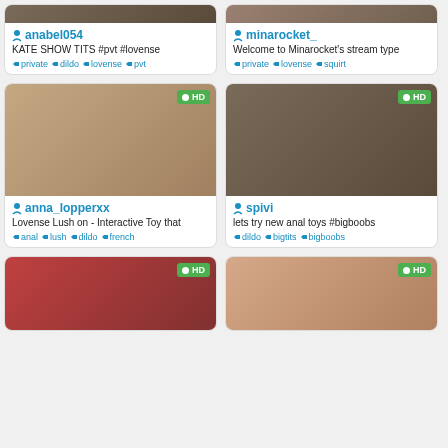[Figure (screenshot): Webcam thumbnail for anabel054]
anabel054
KATE SHOW TITS #pvt #lovense
private  dildo  lovense  pvt
[Figure (screenshot): Webcam thumbnail for minarocket_]
minarocket_
Welcome to Minarocket's stream type
private  lovense  squirt
[Figure (screenshot): Webcam thumbnail for anna_lopperxx - HD]
anna_lopperxx
Lovense Lush on - Interactive Toy that
anal  lush  dildo  french
[Figure (screenshot): Webcam thumbnail for spivi - HD]
spivi
lets try new anal toys #bigboobs
dildo  bigtits  bigboobs
[Figure (screenshot): Webcam thumbnail card bottom-left - HD]
[Figure (screenshot): Webcam thumbnail card bottom-right - HD]